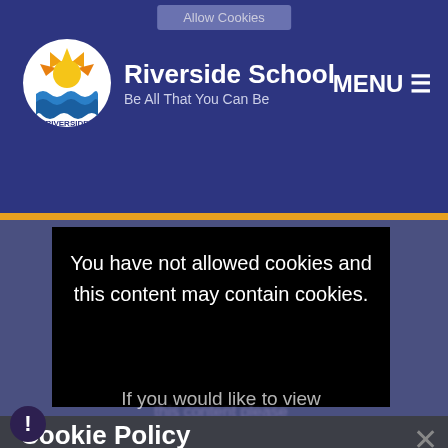[Figure (screenshot): Riverside School website screenshot showing header with logo, cookie notice overlay, and cookie policy banner]
Allow Cookies
Riverside School
Be All That You Can Be
MENU ≡
You have not allowed cookies and this content may contain cookies.
If you would like to view
this content please
Cookie Policy
This site uses cookies to store information on your computer. Click here for more information
Allow Cookies
Deny Cookies